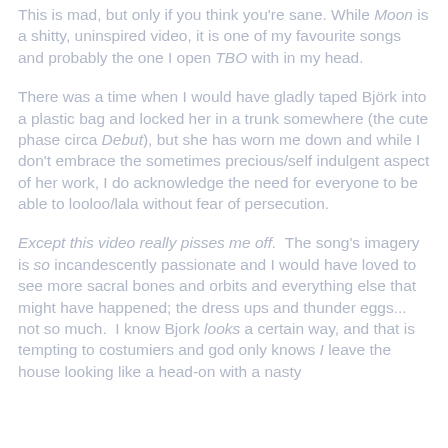This is mad, but only if you think you're sane. While Moon is a shitty, uninspired video, it is one of my favourite songs and probably the one I open TBO with in my head.
There was a time when I would have gladly taped Björk into a plastic bag and locked her in a trunk somewhere (the cute phase circa Debut), but she has worn me down and while I don't embrace the sometimes precious/self indulgent aspect of her work, I do acknowledge the need for everyone to be able to looloo/lala without fear of persecution.
Except this video really pisses me off. The song's imagery is so incandescently passionate and I would have loved to see more sacral bones and orbits and everything else that might have happened; the dress ups and thunder eggs... not so much. I know Bjork looks a certain way, and that is tempting to costumiers and god only knows I leave the house looking like a head-on with a nasty